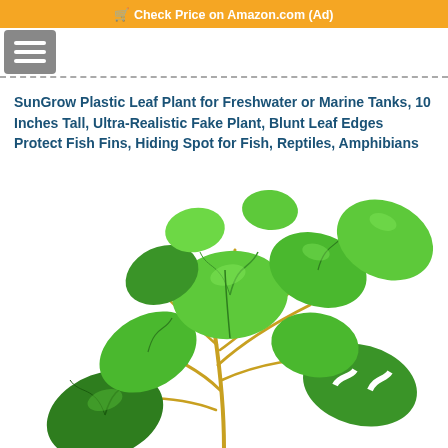Check Price on Amazon.com (Ad)
SunGrow Plastic Leaf Plant for Freshwater or Marine Tanks, 10 Inches Tall, Ultra-Realistic Fake Plant, Blunt Leaf Edges Protect Fish Fins, Hiding Spot for Fish, Reptiles, Amphibians
[Figure (photo): Photo of a SunGrow plastic aquarium plant with green leaves resembling pothos/philodendron, showing multiple large green heart-shaped leaves on yellow-green stems against a white background.]